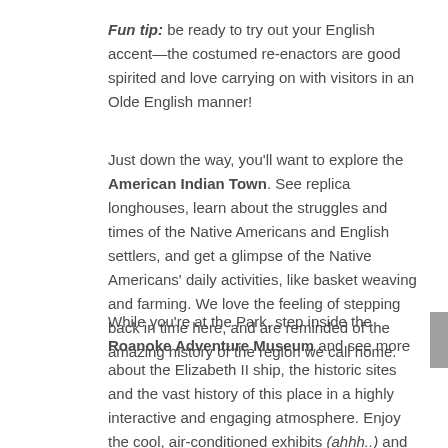Fun tip: be ready to try out your English accent—the costumed re-enactors are good spirited and love carrying on with visitors in an Olde English manner!
Just down the way, you'll want to explore the American Indian Town. See replica longhouses, learn about the struggles and times of the Native Americans and English settlers, and get a glimpse of the Native Americans' daily activities, like basket weaving and farming. We love the feeling of stepping back in time here, and are reminded of the amazing history of the region we call home.
While you're at the Park, step inside the Roanoke Adventure Museum and see more about the Elizabeth II ship, the historic sites and the vast history of this place in a highly interactive and engaging atmosphere. Enjoy the cool, air-conditioned exhibits (ahhh..) and walk through time, from the earliest recorded history of the area through present day. If you're an explorer who loves souvenirs, fear